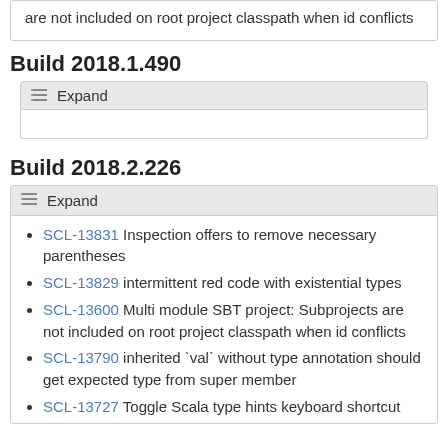are not included on root project classpath when id conflicts
Build 2018.1.490
Expand
Build 2018.2.226
Expand
SCL-13831 Inspection offers to remove necessary parentheses
SCL-13829 intermittent red code with existential types
SCL-13600 Multi module SBT project: Subprojects are not included on root project classpath when id conflicts
SCL-13790 inherited `val` without type annotation should get expected type from super member
SCL-13727 Toggle Scala type hints keyboard shortcut